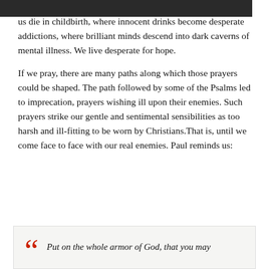[Figure (photo): Dark photograph strip at top of page, partially cropped]
us die in childbirth, where innocent drinks become desperate addictions, where brilliant minds descend into dark caverns of mental illness. We live desperate for hope.

If we pray, there are many paths along which those prayers could be shaped. The path followed by some of the Psalms led to imprecation, prayers wishing ill upon their enemies. Such prayers strike our gentle and sentimental sensibilities as too harsh and ill-fitting to be worn by Christians.That is, until we come face to face with our real enemies. Paul reminds us:
Put on the whole armor of God, that you may